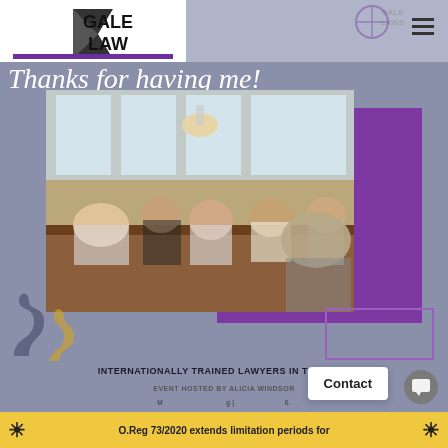[Figure (logo): Gale Law logo with black arrow/triangle shape and purple bar underneath, white background]
Thanks for having me!
[Figure (photo): Group of people seated around a wooden table in a modern restaurant/event space with large windows. Multiple people smiling at the camera.]
INTERNATIONALLY TRAINED LAWYERS IN TORONTO
EVENT HOSTED BY ALICIA WINDSOR
Contact
O.Reg 73/2020 extends limitation periods for